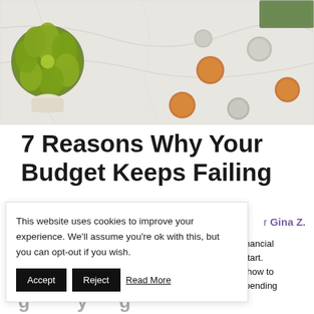[Figure (photo): Overhead flat lay photo of coins, a green succulent plant, and paper bills scattered on a white marble surface]
7 Reasons Why Your Budget Keeps Failing
r Gina Z.
ir financial to start. ow how to ir spending
This website uses cookies to improve your experience. We'll assume you're ok with this, but you can opt-out if you wish.
Accept  Reject  Read More